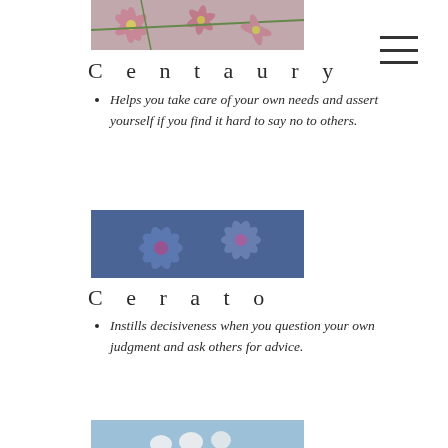[Figure (photo): Pink centaury flowers with thin petals on branches against a green background]
Centaury
Helps you take care of your own needs and assert yourself if you find it hard to say no to others.
[Figure (photo): Blue cerato flowers with five petals close-up against a dark background]
Cerato
Instills decisiveness when you question your own judgment and ask others for advice.
[Figure (photo): Small white flowers partially visible at bottom of page against blue sky background]